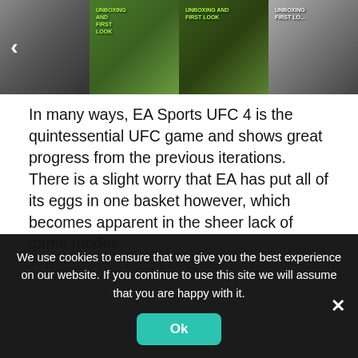[Figure (photo): A horizontal image strip showing four thumbnails of gaming/unboxing content. First: headset unboxing. Second: Xbox controller with green thumbstick caps labeled UNBOXING AND FIRST LOOK. Third: headset on grass labeled UNBOXING AND FIRST LOOK. Fourth: white cable/earbuds labeled UNBOXING AND FIRST LOOK. A left navigation arrow is visible on the left edge.]
In many ways, EA Sports UFC 4 is the quintessential UFC game and shows great progress from the previous iterations. There is a slight worry that EA has put all of its eggs in one basket however, which becomes apparent in the sheer lack of game modes.
Upon venturing into EA Sports UFC 4, you're immediately going to manifest yourself as a created character with an
We use cookies to ensure that we give you the best experience on our website. If you continue to use this site we will assume that you are happy with it.